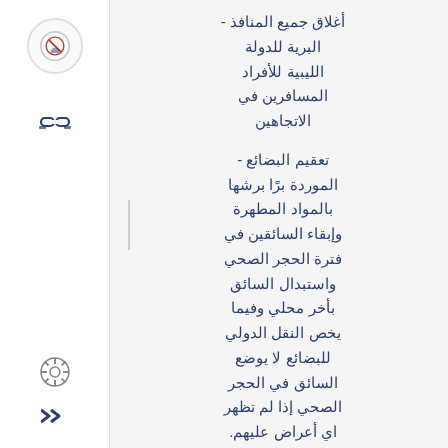- أغلاق جميع المنافذ البرية للدولة الليبية للأفراد المسافرين في الاتجاهين
- تعقيم البضائع الموردة برًا برشها بالمواد المطهرة وإبقاء السائقين في فترة الحجر الصحي واستبدال السائق بأخر محلي وفيما يخص النقل الدولي للبضائع لا يوضع السائق في الحجر الصحي إذا لم تظهر اي أعراض عليهم.
- ايقاف وسائل النقل العام الجماعي عن العمل